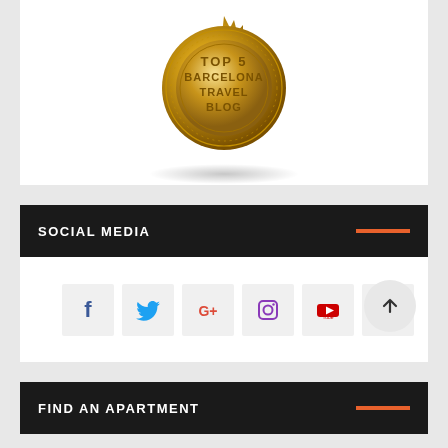[Figure (illustration): Gold badge/seal with text 'TOP 5 BARCELONA TRAVEL BLOG' in the center, surrounded by decorative circles and star-like border, with shadow below]
SOCIAL MEDIA
[Figure (infographic): Row of social media icon boxes: Facebook (f), Twitter (bird), Google+ (G+), Instagram (camera), YouTube (play), Pinterest (P)]
FIND AN APARTMENT